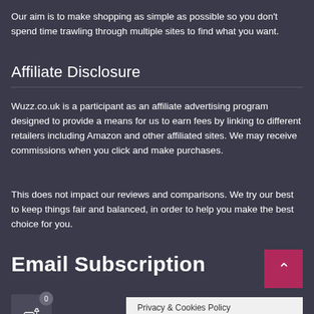Our aim is to make shopping as simple as possible so you don't spend time trawling through multiple sites to find what you want.
Affiliate Disclosure
Wuzz.co.uk is a participant as an affiliate advertising program designed to provide a means for us to earn fees by linking to different retailers including Amazon and other affiliated sites. We may receive commissions when you click and make purchases.
This does not impact our reviews and comparisons. We try our best to keep things fair and balanced, in order to help you make the best choice for you.
Email Subscription
[Figure (other): Back to top button - pink/crimson square with upward chevron arrow]
[Figure (other): Shopping cart widget - dark square with cart icon and badge showing 0]
Privacy & Cookies Policy